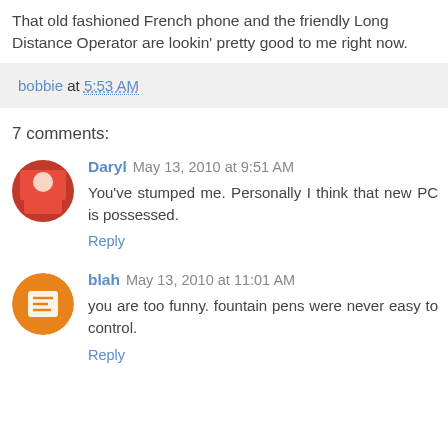That old fashioned French phone and the friendly Long Distance Operator are lookin' pretty good to me right now.
bobbie at 5:53 AM
7 comments:
Daryl May 13, 2010 at 9:51 AM
You've stumped me. Personally I think that new PC is possessed.
Reply
blah May 13, 2010 at 11:01 AM
you are too funny. fountain pens were never easy to control.
Reply